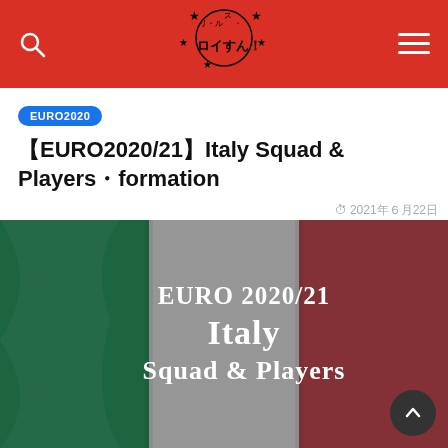ロイすん！ (soccer blog logo)
EURO2020
【EURO2020/21】Italy Squad & Players・formation
2021年6月22日
[Figure (photo): Italian flag with green, white, and red vertical stripes with a dark overlay showing the text: EURO 2020/21 Italy Squad & Players]